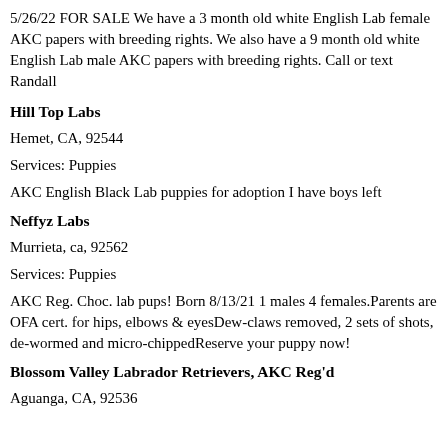5/26/22 FOR SALE We have a 3 month old white English Lab female AKC papers with breeding rights. We also have a 9 month old white English Lab male AKC papers with breeding rights. Call or text Randall
Hill Top Labs
Hemet, CA, 92544
Services: Puppies
AKC English Black Lab puppies for adoption I have boys left
Neffyz Labs
Murrieta, ca, 92562
Services: Puppies
AKC Reg. Choc. lab pups! Born 8/13/21 1 males 4 females.Parents are OFA cert. for hips, elbows & eyesDew-claws removed, 2 sets of shots, de-wormed and micro-chippedReserve your puppy now!
Blossom Valley Labrador Retrievers, AKC Reg'd
Aguanga, CA, 92536